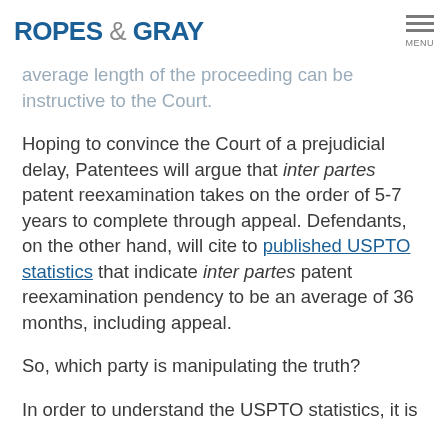ROPES & GRAY | MENU
average length of the proceeding can be instructive to the Court.
Hoping to convince the Court of a prejudicial delay, Patentees will argue that inter partes patent reexamination takes on the order of 5-7 years to complete through appeal. Defendants, on the other hand, will cite to published USPTO statistics that indicate inter partes patent reexamination pendency to be an average of 36 months, including appeal.
So, which party is manipulating the truth?
In order to understand the USPTO statistics, it is